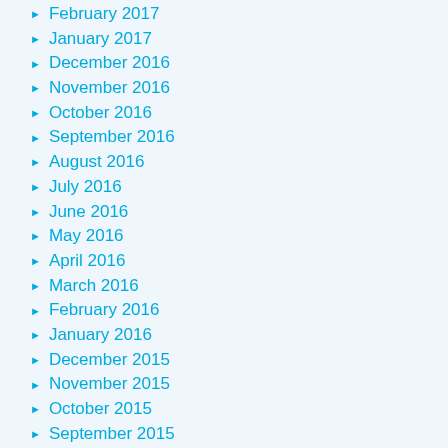February 2017
January 2017
December 2016
November 2016
October 2016
September 2016
August 2016
July 2016
June 2016
May 2016
April 2016
March 2016
February 2016
January 2016
December 2015
November 2015
October 2015
September 2015
August 2015